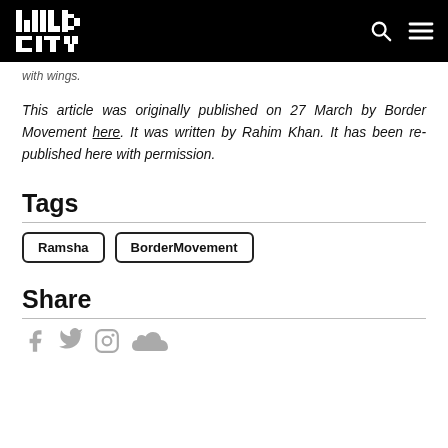Wild City
with wings.
This article was originally published on 27 March by Border Movement here. It was written by Rahim Khan. It has been re-published here with permission.
Tags
Ramsha
BorderMovement
Share
[Figure (other): Social media icons: Facebook, Twitter, Instagram, SoundCloud]